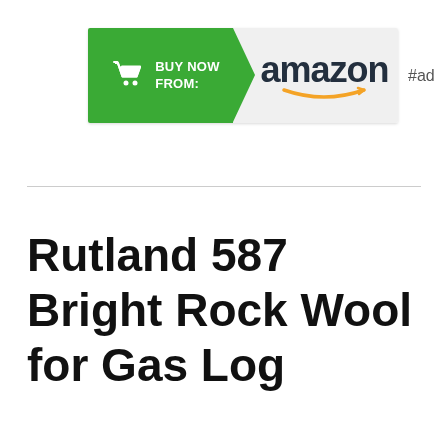[Figure (logo): Amazon 'Buy Now From' advertisement banner with green shopping cart section on the left and Amazon logo on the right, followed by '#ad' tag]
Rutland 587 Bright Rock Wool for Gas Log